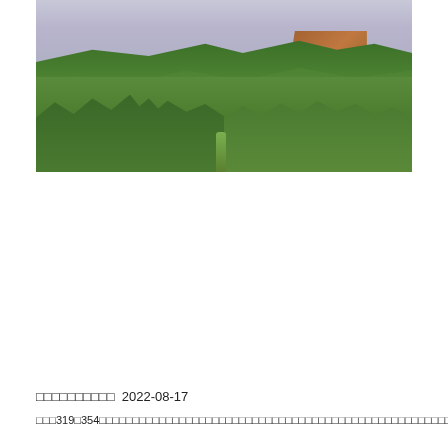[Figure (photo): Landscape photograph showing terraced green hillsides with dense vegetation and a red/ochre cliff face visible at upper right, under a hazy blue-gray sky. A path winds through the center foreground.]
□□□□□□□□□□  2022-08-17
□□□319□354□□□□□□□□□□□□□□□□□□□□□□□□□□□□□□□□□□□□□□□□□□□□□□□□□□□□□□□□□□□□□□□□□□□□□□□□□□□□□□□□□□□□□□□□□□□□□□□□□□□□□□□□□□□□□□□□□□□□□□□□□□□□35.4□□□□□□□□□□□□□35.7□□□□□□□□□□□